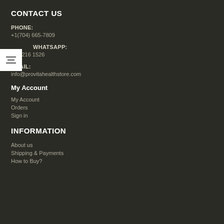CONTACT US
PHONE:
+1(704) 665-7809
WHATSAPP:
980 216 1526
EMAIL:
info@provitahealthstore.com
My Account
My Account
Orders
Sign in
INFORMATION
About us
Shipping & Payments
How to Buy?